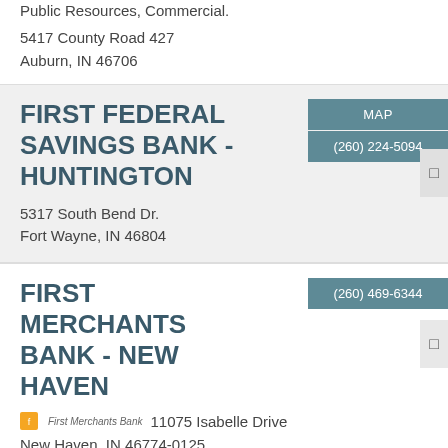Public Resources, Commercial.
5417 County Road 427
Auburn, IN 46706
FIRST FEDERAL SAVINGS BANK - HUNTINGTON
MAP
(260) 224-5094
5317 South Bend Dr.
Fort Wayne, IN 46804
FIRST MERCHANTS BANK - NEW HAVEN
(260) 469-6344
11075 Isabelle Drive
New Haven, IN 46774-0125
FIRST MERCHANTS BANK - BLUFFTON NORTH
MAP
(260) 469-6271